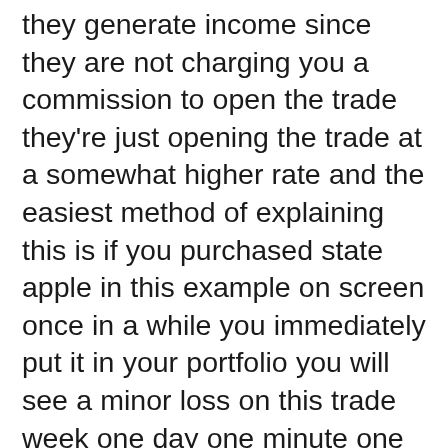they generate income since they are not charging you a commission to open the trade they're just opening the trade at a somewhat higher rate and the easiest method of explaining this is if you purchased state apple in this example on screen once in a while you immediately put it in your portfolio you will see a minor loss on this trade week one day one minute one second one which percentage loss is how much it cost you to open that trade or you can even in fact go and see the dollar fee of just how much it roughly cost you to open stated trade nevertheless after using this platform for a very long time when you close the trade as well there is a small difference and what occurs here is etoro tends to determine the distinction and that is how much they have